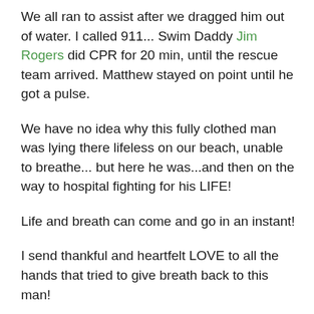We all ran to assist after we dragged him out of water. I called 911... Swim Daddy Jim Rogers did CPR for 20 min, until the rescue team arrived. Matthew stayed on point until he got a pulse.
We have no idea why this fully clothed man was lying there lifeless on our beach, unable to breathe... but here he was...and then on the way to hospital fighting for his LIFE!
Life and breath can come and go in an instant!
I send thankful and heartfelt LOVE to all the hands that tried to give breath back to this man!
I send light and healing love that this man finds his